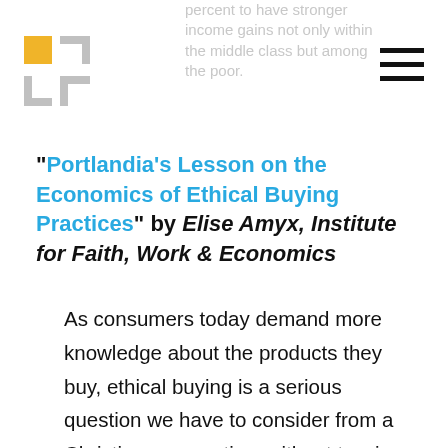percent to have stronger income gains not only within the middle class but among the poor.
[Figure (logo): Institute for Faith Work & Economics logo — yellow square top-left, grey cross/plus shapes]
[Figure (other): Hamburger menu icon — three horizontal black lines]
“Portlandia’s Lesson on the Economics of Ethical Buying Practices” by Elise Amyx, Institute for Faith, Work & Economics
As consumers today demand more knowledge about the products they buy, ethical buying is a serious question we have to consider from a Christian perspective, without tossing good economic thinking to the curb. If ethical